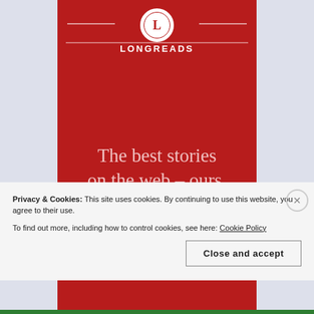[Figure (logo): Longreads logo: circle with 'L' and 'LONGREADS' text on a red background card with decorative border]
The best stories on the web – ours, and everyone
Privacy & Cookies: This site uses cookies. By continuing to use this website, you agree to their use.
To find out more, including how to control cookies, see here: Cookie Policy
Close and accept